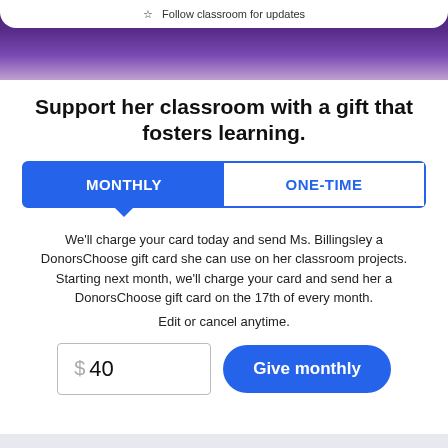[Figure (screenshot): Purple/dark banner image at top of page showing a classroom scene]
Support her classroom with a gift that fosters learning.
[Figure (infographic): Tab selector with MONTHLY (blue, selected) and ONE-TIME (blue text on white) tabs]
We'll charge your card today and send Ms. Billingsley a DonorsChoose gift card she can use on her classroom projects. Starting next month, we'll charge your card and send her a DonorsChoose gift card on the 17th of every month.
Edit or cancel anytime.
$ 40   Give monthly